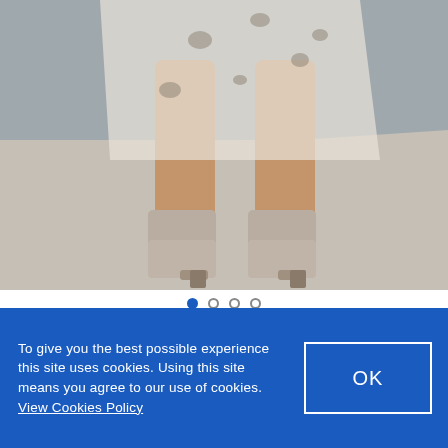[Figure (photo): Lower body shot of a model wearing a floral/animal print midi dress and taupe suede ankle boots with a block heel, standing on a grey floor against a light grey background.]
TED BAKER
Ted Baker Waleska Eyelet Detail Asym Midi Skirt Powder Pink
To give you the best possible experience this site uses cookies. Using this site means you agree to our use of cookies. View Cookies Policy